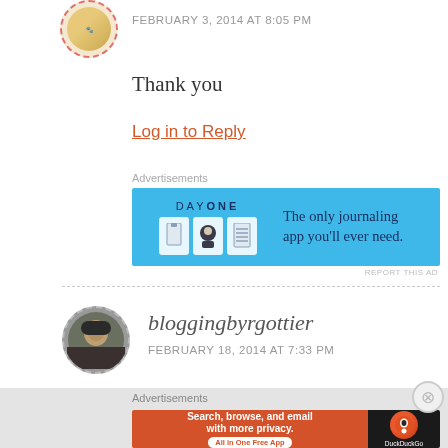[Figure (photo): Small circular avatar with dashed red border showing a gold/yellow logo]
FEBRUARY 3, 2014 AT 8:05 PM
Thank you
Log in to Reply
Advertisements
[Figure (other): Day One app advertisement banner with blue background showing 'The only journaling app you'll ever need.']
REPORT THIS AD
[Figure (photo): Circular avatar with dashed grey border showing a person wearing a dark hat]
bloggingbyrgottier
FEBRUARY 18, 2014 AT 7:33 PM
Advertisements
[Figure (other): DuckDuckGo advertisement banner: 'Search, browse, and email with more privacy. All in One Free App' on orange background with DuckDuckGo logo on black background]